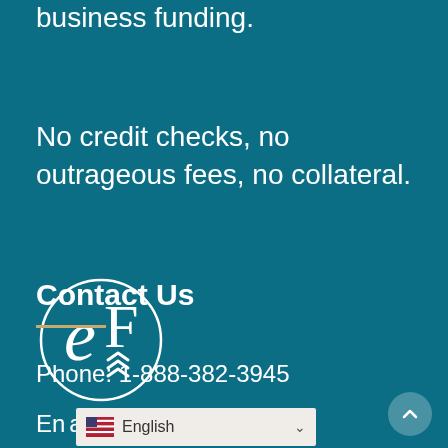We're setting a new standard for small business funding.
No credit checks, no outrageous fees, no collateral.
[Figure (logo): eF logo — circular design with stylized letter e and F with upward chevron arrows, white on teal background]
Contact Us
Phone: 1-888-382-3945
Email: ...atefunding.com